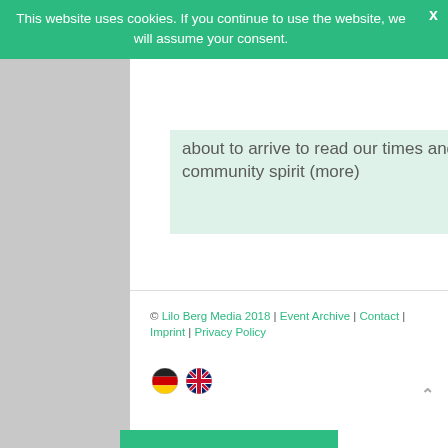This website uses cookies. If you continue to use the website, we will assume your consent.
about to arrive to read our times and new ideas for more community spirit (more)
MORE TEXTS...
© Lilo Berg Media 2018 | Event Archive | Contact | Imprint | Privacy Policy